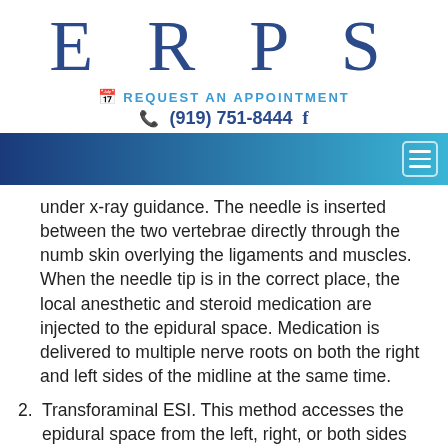E R P S
📅 REQUEST AN APPOINTMENT
📞 (919) 751-8444  f
[Figure (other): Navigation bar with gradient from dark blue to light blue, with hamburger menu icon on right]
under x-ray guidance. The needle is inserted between the two vertebrae directly through the numb skin overlying the ligaments and muscles. When the needle tip is in the correct place, the local anesthetic and steroid medication are injected to the epidural space. Medication is delivered to multiple nerve roots on both the right and left sides of the midline at the same time.
2. Transforaminal ESI. This method accesses the epidural space from the left, right, or both sides